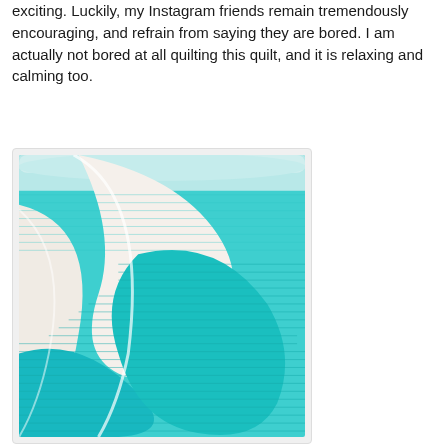exciting. Luckily, my Instagram friends remain tremendously encouraging, and refrain from saying they are bored. I am actually not bored at all quilting this quilt, and it is relaxing and calming too.
[Figure (photo): Close-up photo of a quilt being quilted on a machine, showing teal/turquoise and white fabric with curved quilt patterns and visible stitch lines. The fabric is rolled on the quilting machine bar at the top.]